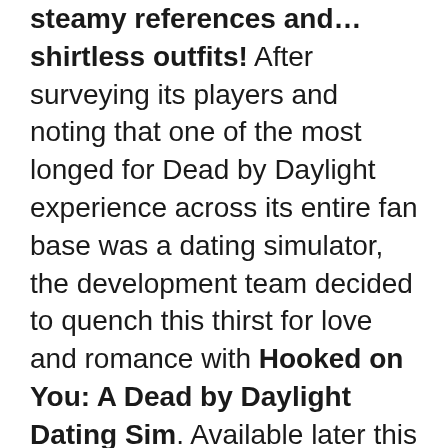steamy references and... shirtless outfits! After surveying its players and noting that one of the most longed for Dead by Daylight experience across its entire fan base was a dating simulator, the development team decided to quench this thirst for love and romance with Hooked on You: A Dead by Daylight Dating Sim. Available later this year, the very first Dead by Daylight visual novel is an interactive game that allows players to romance their favorite Killers. To develop as rich an experience as possible, the team collaborated with Psyop, the creators of the immensely successful visual novel I Love You, Colonel Sanders! A Finger Lickin' Good Dating Simulator.